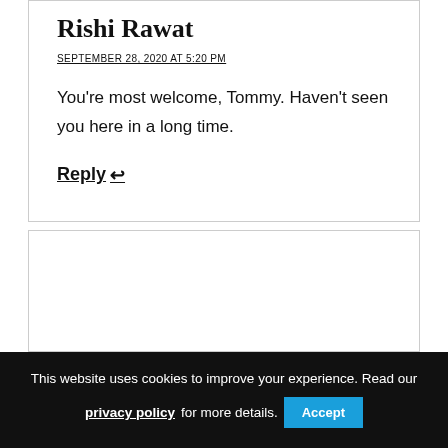Rishi Rawat
SEPTEMBER 28, 2020 AT 5:20 PM
You're most welcome, Tommy. Haven't seen you here in a long time.
Reply ↩
[Figure (other): Partial second comment box with avatar placeholder rectangle]
This website uses cookies to improve your experience. Read our privacy policy for more details.
Accept